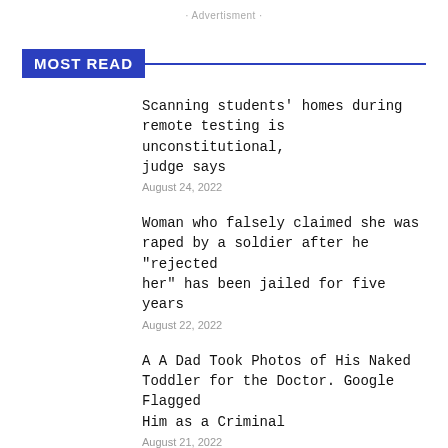· Advertisment ·
MOST READ
Scanning students' homes during remote testing is unconstitutional, judge says
August 24, 2022
Woman who falsely claimed she was raped by a soldier after he "rejected her" has been jailed for five years
August 22, 2022
A A Dad Took Photos of His Naked Toddler for the Doctor. Google Flagged Him as a Criminal
August 21, 2022